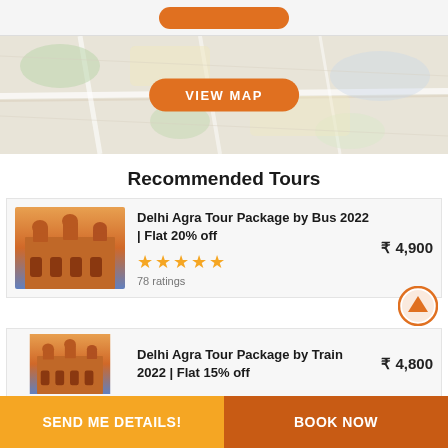[Figure (map): Blurred map background with street/road overlay in pastel colors]
VIEW MAP
Recommended Tours
[Figure (photo): Photo of Fatehpur Sikri or similar red sandstone Indian monument with domes, against colorful sky]
Delhi Agra Tour Package by Bus 2022 | Flat 20% off
★★★★★ 78 ratings
₹ 4,900
[Figure (photo): Photo of same or similar Indian monument, partially visible]
Delhi Agra Tour Package by Train 2022 | Flat 15% off
₹ 4,800
SEND ME DETAILS!
BOOK NOW